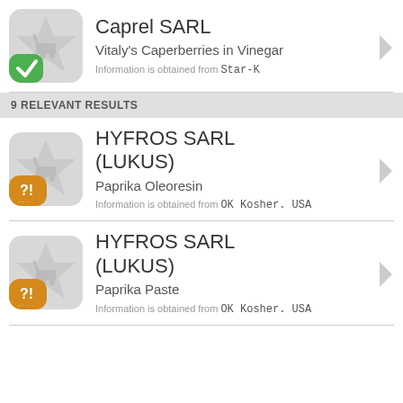[Figure (screenshot): App listing card: Caprel SARL - Vitaly's Caperberries in Vinegar with green checkmark badge and Star-K source]
Caprel SARL
Vitaly's Caperberries in Vinegar
Information is obtained from Star-K
9 RELEVANT RESULTS
[Figure (screenshot): App listing card: HYFROS SARL (LUKUS) - Paprika Oleoresin with orange question mark badge and OK Kosher. USA source]
HYFROS SARL (LUKUS)
Paprika Oleoresin
Information is obtained from OK Kosher. USA
[Figure (screenshot): App listing card: HYFROS SARL (LUKUS) - Paprika Paste with orange question mark badge and OK Kosher. USA source]
HYFROS SARL (LUKUS)
Paprika Paste
Information is obtained from OK Kosher. USA